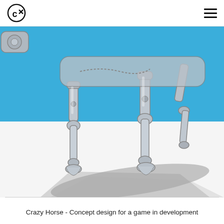Cx logo and hamburger menu
[Figure (illustration): Concept art illustration of a mechanical robotic horse (Crazy Horse). Shows the lower body and legs of a chrome/silver metallic skeletal horse standing on a white surface with a bright blue background. The mechanical legs have complex joints, gears, and chains. The horse casts a dramatic grey shadow on the white ground beneath it. Partial view of another mechanical component visible in upper left corner.]
Crazy Horse - Concept design for a game in development